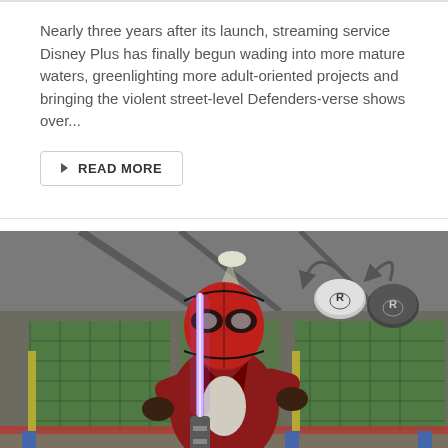Nearly three years after its launch, streaming service Disney Plus has finally begun wading into more mature waters, greenlighting more adult-oriented projects and bringing the violent street-level Defenders-verse shows over...
READ MORE
[Figure (photo): A video game character wearing a Deadpool mask and red jacket, sitting and holding a purple lightsaber. In the upper right corner is a graphic showing two joystick buttons with a rotation arrow. A red 'DFTG' watermark badge appears in the lower left corner. The background shows an indoor sports facility with green netting.]